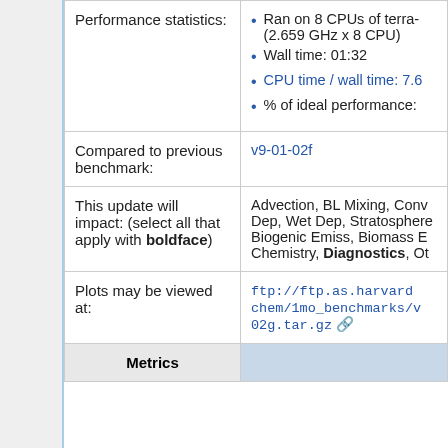| Label | Content |
| --- | --- |
| Performance statistics: | • Ran on 8 CPUs of terra- (2.659 GHz x 8 CPU)
• Wall time: 01:32
• CPU time / wall time: 7.6
• % of ideal performance: |
| Compared to previous benchmark: | v9-01-02f |
| This update will impact: (select all that apply with boldface) | Advection, BL Mixing, Conv Dep, Wet Dep, Stratosphere Biogenic Emiss, Biomass E Chemistry, Diagnostics, Other |
| Plots may be viewed at: | ftp://ftp.as.harvard chem/1mo_benchmarks/v 02g.tar.gz |
| Metrics |  |